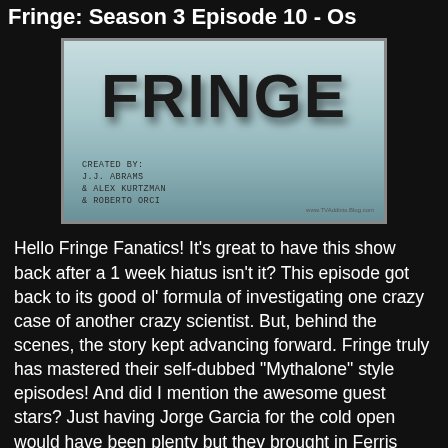Fringe: Season 3 Episode 10 - Os
[Figure (screenshot): Fringe TV show title card with 'FRINGE' in large bold letters, created by J.J. Abrams, Alex Kurtzman & Roberto Orci]
Hello Fringe Fanatics!  It's great to have this show back after a 1 week hiatus isn't it?  This episode got back to its good ol' formula of investigating one crazy case of another crazy scientist.  But, behind the scenes, the story kept advancing forward.  Fringe truly has mastered their self-dubbed "Mythalone" style episodes!  And did I mention the awesome guest stars?  Just having Jorge Garcia for the cold open would have been plenty but they brought in Ferris Bueller's best friend as our villain of the week!  Alan Ruck ladies and gentlemen!  Awesome stuff (and yes yes, I know Alan has been in plenty since then but he'll always be Cameron to me).  Do we wait until the end of the recap to talk about the